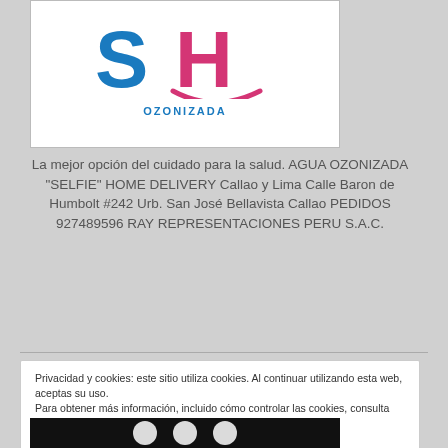[Figure (logo): SH Ozonizada logo — large blue 'S' and pink 'H' letters with a pink smile arc beneath, and 'OZONIZADA' in blue text below]
La mejor opción del cuidado para la salud. AGUA OZONIZADA "SELFIE" HOME DELIVERY Callao y Lima Calle Baron de Humbolt #242 Urb. San José Bellavista Callao PEDIDOS 927489596 RAY REPRESENTACIONES PERU S.A.C.
Privacidad y cookies: este sitio utiliza cookies. Al continuar utilizando esta web, aceptas su uso.
Para obtener más información, incluido cómo controlar las cookies, consulta aquí:
Política de cookies
Cerrar y aceptar
[Figure (photo): Bottom black strip with white circular icons]